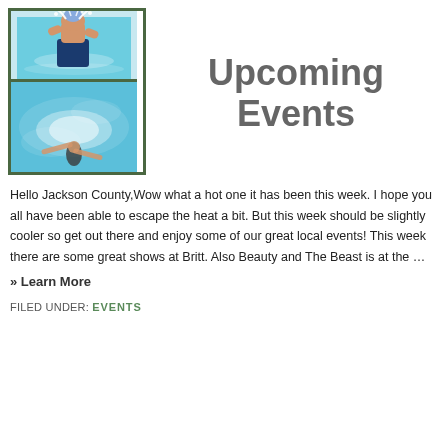[Figure (photo): Two swimming pool photos stacked vertically in a dark green border frame. Top photo shows a child standing in a pool with water splashing overhead. Bottom photo shows a person swimming in a pool viewed from above.]
Upcoming Events
Hello Jackson County,Wow what a hot one it has been this week. I hope you all have been able to escape the heat a bit. But this week should be slightly cooler so get out there and enjoy some of our great local events! This week there are some great shows at Britt. Also Beauty and The Beast is at the …
» Learn More
FILED UNDER: EVENTS